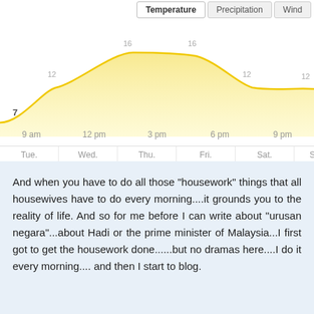[Figure (area-chart): Temperature]
[Figure (infographic): Weekly forecast icons showing Tue 18°/11°, Wed 17°/10°, Thu 20°/8°, Fri 19°/12°, Sat 18°/12°, Su 18°]
And when you have to do all those "housework" things that all housewives have to do every morning....it grounds you to the reality of life. And so for me before I can write about "urusan negara"...about Hadi or the prime minister of Malaysia...I first got to get the housework done......but no dramas here....I do it every morning.... and then I start to blog.